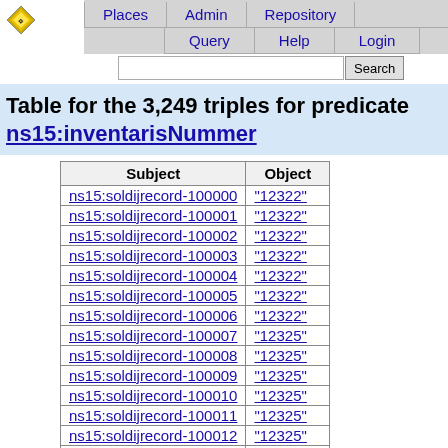Places | Admin | Repository | Query | Help | Login
Table for the 3,249 triples for predicate ns15:inventarisNummer
| Subject | Object |
| --- | --- |
| ns15:soldijrecord-100000 | "12322" |
| ns15:soldijrecord-100001 | "12322" |
| ns15:soldijrecord-100002 | "12322" |
| ns15:soldijrecord-100003 | "12322" |
| ns15:soldijrecord-100004 | "12322" |
| ns15:soldijrecord-100005 | "12322" |
| ns15:soldijrecord-100006 | "12322" |
| ns15:soldijrecord-100007 | "12325" |
| ns15:soldijrecord-100008 | "12325" |
| ns15:soldijrecord-100009 | "12325" |
| ns15:soldijrecord-100010 | "12325" |
| ns15:soldijrecord-100011 | "12325" |
| ns15:soldijrecord-100012 | "12325" |
| ns15:soldijrecord-100013 | "12325" |
| ns15:soldijrecord-100014 | "12325" |